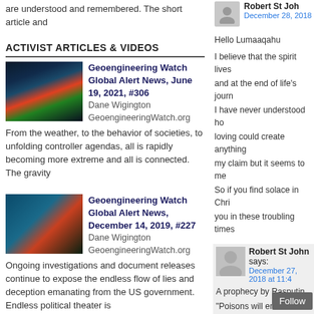are understood and remembered. The short article and
ACTIVIST ARTICLES & VIDEOS
[Figure (photo): Satellite/radar image with colorful overlays on dark background]
Geoengineering Watch Global Alert News, June 19, 2021, #306
Dane Wigington GeoengineeringWatch.org
From the weather, to the behavior of societies, to unfolding controller agendas, all is rapidly becoming more extreme and all is connected. The gravity
[Figure (photo): Satellite image with blue and red tones]
Geoengineering Watch Global Alert News, December 14, 2019, #227
Dane Wigington GeoengineeringWatch.org
Ongoing investigations and document releases continue to expose the endless flow of lies and deception emanating from the US government. Endless political theater is
[Figure (photo): Small thumbnail image brownish tones]
All The Way – A Charles...
Robert St Joh
December 28, 2018
Hello Lumaaqahu
I believe that the spirit lives
and at the end of life's journ
I have never understood ho
loving could create anything
my claim but it seems to me
So if you find solace in Chri
you in these troubling times
Robert St John says:
December 27, 2018 at 11:4
A prophecy by Rasputin.
"Poisons will embra...